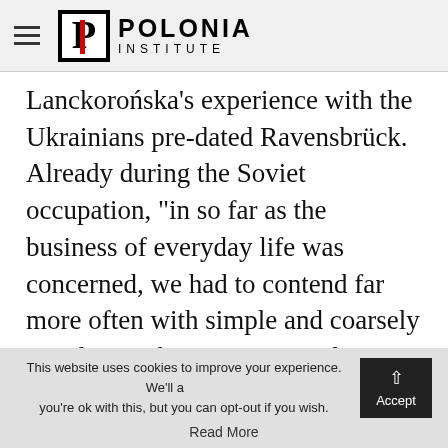POLONIA INSTITUTE
Lanckorońska's experience with the Ukrainians pre-dated Ravensbrück. Already during the Soviet occupation, “in so far as the business of everyday life was concerned, we had to contend far more often with simple and coarsely simplistic Ukrainian nationalism than with Communism or Russian imperialism” (p. 22). She also notes
This website uses cookies to improve your experience. We'll assume you're ok with this, but you can opt-out if you wish.
Read More